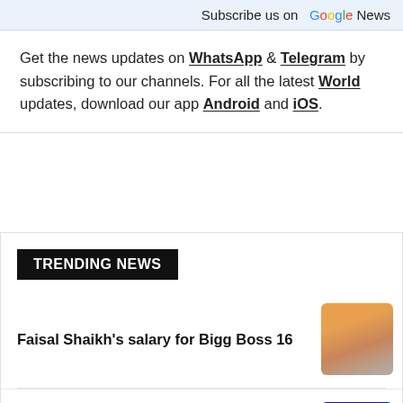Subscribe us on Google News
Get the news updates on WhatsApp & Telegram by subscribing to our channels. For all the latest World updates, download our app Android and iOS.
TRENDING NEWS
Faisal Shaikh's salary for Bigg Boss 16
Bigg Boss 16: Names of 5 more contestants [Exclusive]